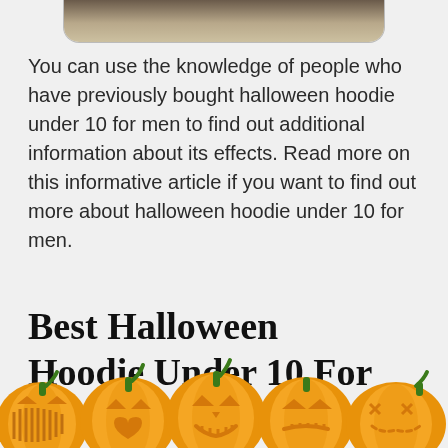[Figure (photo): Partial image of a wooden surface or furniture, shown at top of page inside a rounded card]
You can use the knowledge of people who have previously bought halloween hoodie under 10 for men to find out additional information about its effects. Read more on this informative article if you want to find out more about halloween hoodie under 10 for men.
Best Halloween Hoodie Under 10 For
[Figure (illustration): A row of five carved Halloween jack-o-lantern pumpkins with glowing orange faces and green stems, arranged side by side at the bottom of the page]